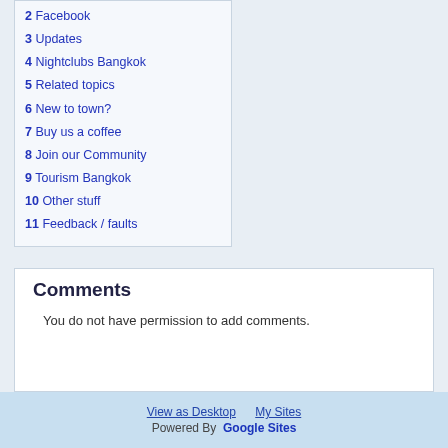2 Facebook
3 Updates
4 Nightclubs Bangkok
5 Related topics
6 New to town?
7 Buy us a coffee
8 Join our Community
9 Tourism Bangkok
10 Other stuff
11 Feedback / faults
Comments
You do not have permission to add comments.
View as Desktop   My Sites
Powered By  Google Sites